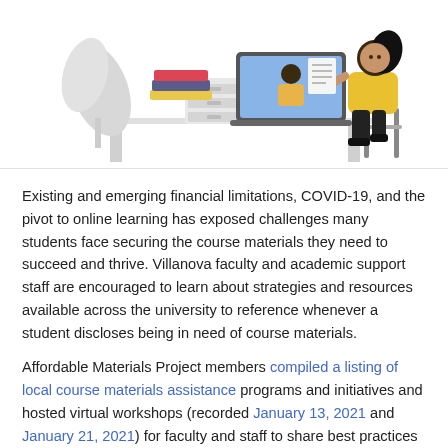[Figure (illustration): Flat-style illustration of a woman with black hair and yellow top sitting at a desk reading a paper, with a laptop showing a person on screen, stacked books, and a plant in the background.]
Existing and emerging financial limitations, COVID-19, and the pivot to online learning has exposed challenges many students face securing the course materials they need to succeed and thrive. Villanova faculty and academic support staff are encouraged to learn about strategies and resources available across the university to reference whenever a student discloses being in need of course materials.
Affordable Materials Project members compiled a listing of local course materials assistance programs and initiatives and hosted virtual workshops (recorded January 13, 2021 and January 21, 2021) for faculty and staff to share best practices for working with students facing challenges with securing the